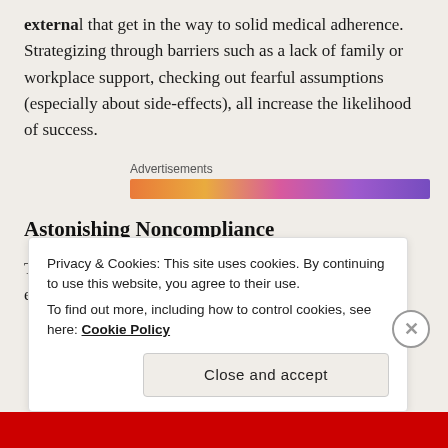external that get in the way to solid medical adherence. Strategizing through barriers such as a lack of family or workplace support, checking out fearful assumptions (especially about side-effects), all increase the likelihood of success.
[Figure (other): Advertisements banner with colorful gradient social media icons strip]
Astonishing Noncompliance
There are times when we see a complete shutdown of efforts to follow the directives of the treatment team
Privacy & Cookies: This site uses cookies. By continuing to use this website, you agree to their use.
To find out more, including how to control cookies, see here: Cookie Policy